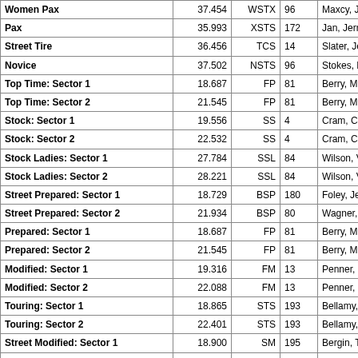| Category | Time | Class | # | Name |
| --- | --- | --- | --- | --- |
| Women Pax | 37.454 | WSTX | 96 | Maxcy, Jennifer |
| Pax | 35.993 | XSTS | 172 | Jan, Jerrett |
| Street Tire | 36.456 | TCS | 14 | Slater, Jeff |
| Novice | 37.502 | NSTS | 96 | Stokes, Keane |
| Top Time: Sector 1 | 18.687 | FP | 81 | Berry, Mark |
| Top Time: Sector 2 | 21.545 | FP | 81 | Berry, Mark |
| Stock: Sector 1 | 19.556 | SS | 4 | Cram, Charles |
| Stock: Sector 2 | 22.532 | SS | 4 | Cram, Charles |
| Stock Ladies: Sector 1 | 27.784 | SSL | 84 | Wilson, Victoria |
| Stock Ladies: Sector 2 | 28.221 | SSL | 84 | Wilson, Victoria |
| Street Prepared: Sector 1 | 18.729 | BSP | 180 | Foley, Jeremy |
| Street Prepared: Sector 2 | 21.934 | BSP | 80 | Wagner, Jon |
| Prepared: Sector 1 | 18.687 | FP | 81 | Berry, Mark |
| Prepared: Sector 2 | 21.545 | FP | 81 | Berry, Mark |
| Modified: Sector 1 | 19.316 | FM | 13 | Penner, Phillip |
| Modified: Sector 2 | 22.088 | FM | 13 | Penner, Phillip |
| Touring: Sector 1 | 18.865 | STS | 193 | Bellamy, Neal |
| Touring: Sector 2 | 22.401 | STS | 193 | Bellamy, Neal |
| Street Modified: Sector 1 | 18.900 | SM | 195 | Bergin, Tim |
| Street Modified: Sector 2 | 22.406 | SM | 95 | Lin, Henry |